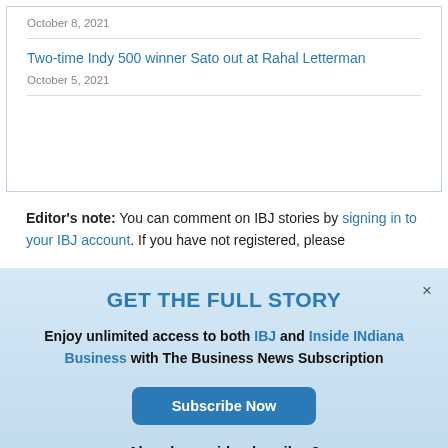October 8, 2021
Two-time Indy 500 winner Sato out at Rahal Letterman
October 5, 2021
Editor's note: You can comment on IBJ stories by signing in to your IBJ account. If you have not registered, please
GET THE FULL STORY
Enjoy unlimited access to both IBJ and Inside INdiana Business with The Business News Subscription
Subscribe Now
Already a paid subscriber?
Log In